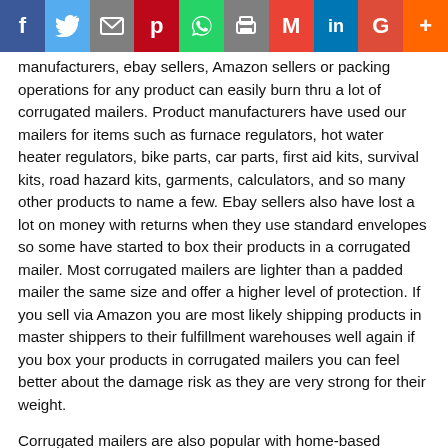[Figure (other): Social media sharing bar with icons: Facebook (f), Twitter (bird), Email (envelope), Pinterest (P), WhatsApp, Print, Gmail (M), LinkedIn (in), Google (G), Plus (+)]
manufacturers, ebay sellers, Amazon sellers or packing operations for any product can easily burn thru a lot of corrugated mailers. Product manufacturers have used our mailers for items such as furnace regulators, hot water heater regulators, bike parts, car parts, first aid kits, survival kits, road hazard kits, garments, calculators, and so many other products to name a few. Ebay sellers also have lost a lot on money with returns when they use standard envelopes so some have started to box their products in a corrugated mailer. Most corrugated mailers are lighter than a padded mailer the same size and offer a higher level of protection. If you sell via Amazon you are most likely shipping products in master shippers to their fulfillment warehouses well again if you box your products in corrugated mailers you can feel better about the damage risk as they are very strong for their weight.
Corrugated mailers are also popular with home-based businesses. The mailers are inexpensive to purchase and ship and they store flat so anyone can easily package and load their products into a corrugated mailer. Labeling your corrugated mailers could not be easier you can print your own or have a local printer print your labels on crack and peel self-